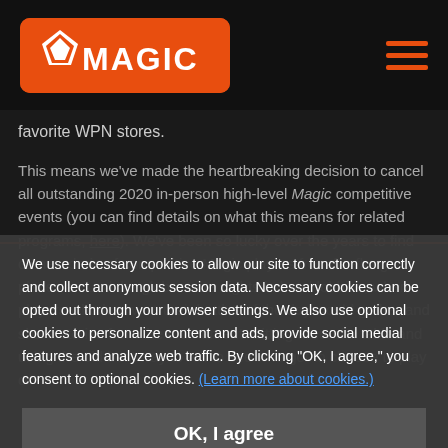Magic: The Gathering - Magic logo and navigation
favorite WPN stores.
This means we've made the heartbreaking decision to cancel all outstanding 2020 in-person high-level Magic competitive events (you can find details on what this means for related programs, here). We've been so lucky over the years to find camaraderie of competitive Magic players from far-flung places around the globe. Late nights in hotel lobbies, when players who had won their battles of the day would gather and share stories from the tournament. Sitting around a table and using the old way to roll to see who got to choose to play or
We use necessary cookies to allow our site to function correctly and collect anonymous session data. Necessary cookies can be opted out through your browser settings. We also use optional cookies to personalize content and ads, provide social medial features and analyze web traffic. By clicking "OK, I agree," you consent to optional cookies. (Learn more about cookies.)
OK, I agree
No, thanks